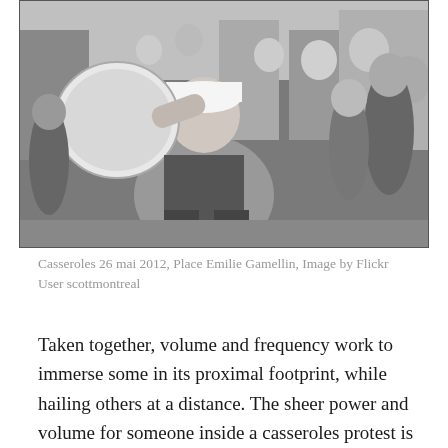[Figure (photo): Black and white photograph of a woman smiling and banging a pot/pan at a casseroles protest at Place Emilie Gamellin on May 26, 2012. She is wearing a white cap and holding a large round metal pan. A crowd of people is visible in the background.]
Casseroles 26 mai 2012, Place Emilie Gamellin, Image by Flickr User scottmontreal
Taken together, volume and frequency work to immerse some in its proximal footprint, while hailing others at a distance. The sheer power and volume for someone inside a casseroles protest is hard to convey. My neighbor on a pot is a lot like my drummer hitting a cymbal. The transient (the sharp, initial part of the hit) can be piercing at close